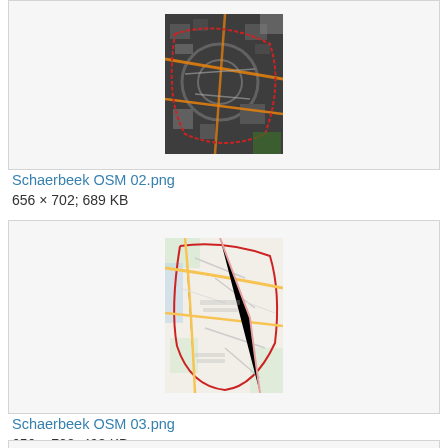[Figure (map): Schaerbeek OSM 02.png - satellite/aerial style map with dark grey tones, orange roads, red boundary lines]
Schaerbeek OSM 02.png
656 × 702; 689 KB
[Figure (map): Schaerbeek OSM 03.png - OpenStreetMap style map with light background, red boundary lines, colored roads]
Schaerbeek OSM 03.png
656 × 702; 498 KB